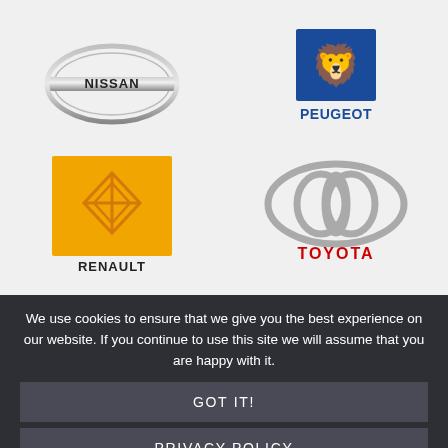[Figure (logo): Nissan logo - silver circular emblem with NISSAN text]
[Figure (logo): Peugeot logo - blue square with white lion emblem and PEUGEOT text in blue]
[Figure (logo): Renault logo - yellow/orange square background with diamond logo and RENAULT text]
[Figure (logo): Toyota logo - silver oval/ellipse emblem with TOYOTA text in red]
We use cookies to ensure that we give you the best experience on our website. If you continue to use this site we will assume that you are happy with it.
GOT IT!
PRIVACY POLICY